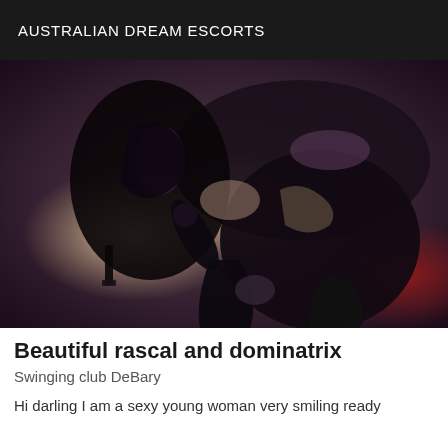AUSTRALIAN DREAM ESCORTS
[Figure (photo): Photo of a person in black latex/leather clothing including boots and a harness, posing in a dominatrix style]
Beautiful rascal and dominatrix
Swinging club DeBary
Hi darling I am a sexy young woman very smiling ready